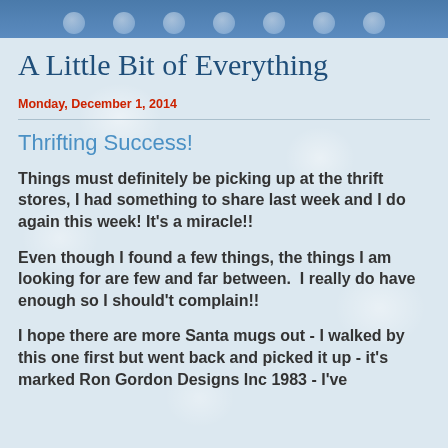A Little Bit of Everything
Monday, December 1, 2014
Thrifting Success!
Things must definitely be picking up at the thrift stores, I had something to share last week and I do again this week! It's a miracle!!
Even though I found a few things, the things I am looking for are few and far between.  I really do have enough so I should't complain!!
I hope there are more Santa mugs out - I walked by this one first but went back and picked it up - it's marked Ron Gordon Designs Inc 1983 - I've